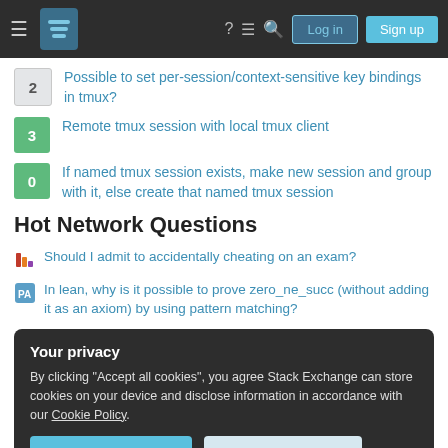Stack Exchange navigation bar with Log in and Sign up buttons
2 — Possible to set per-session/context-sensitive key bindings in tmux?
3 — Remote tmux session with local tmux client
0 — If named tmux session exists, make new session and group with it, else create that named tmux session
Hot Network Questions
Should I admit to accidentally cheating on an exam?
In lean, why is it possible to prove zero_ne_succ (without adding it as an axiom) by using pattern matching?
Your privacy
By clicking "Accept all cookies", you agree Stack Exchange can store cookies on your device and disclose information in accordance with our Cookie Policy.
Accept all cookies  Customize settings
wine of blessedness ?